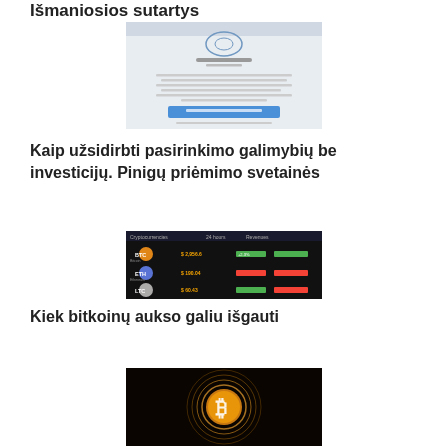Išmaniosios sutartys
[Figure (screenshot): Screenshot of a website with a logo, text content, and a blue button. Appears to be a financial or investment-related website.]
Kaip užsidirbti pasirinkimo galimybių be investicijų. Pinigų priėmimo svetainės
[Figure (screenshot): Screenshot of a cryptocurrency trading board showing BTC, ETH, LTC, ETC price listings with green and red values on a dark background.]
Kiek bitkoinų aukso galiu išgauti
[Figure (illustration): Dark background illustration of a glowing golden Bitcoin coin with circular light rings around it.]